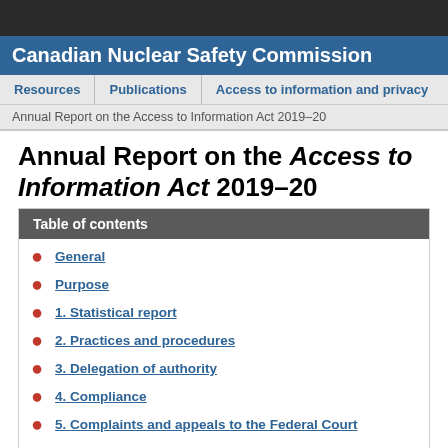Canadian Nuclear Safety Commission
Resources | Publications | Access to information and privacy
Annual Report on the Access to Information Act 2019–20
Annual Report on the Access to Information Act 2019–20
Table of contents
General
Purpose
1. Statistical report
2. Practices and procedures
3. Delegation of authority
4. Compliance
5. Complaints and appeals to the Federal Court
Annex A: Statistical Information